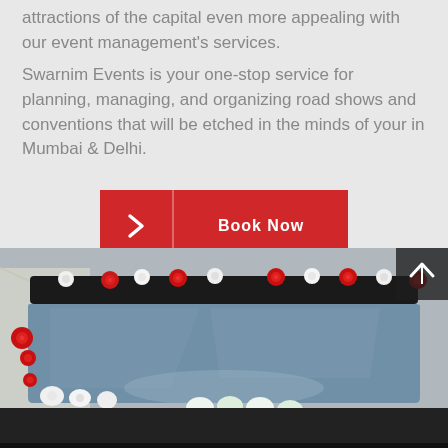attractions of the capital even more appealing with our event management's services.
Swarnim Events is your one-stop service for planning, managing, and organizing road shows and conventions that will be etched in the minds of your in Mumbai & Delhi.
[Figure (other): Red button with a right-arrow chevron icon and the text 'Book Now' in white on red background]
[Figure (photo): A decorated car (likely a wedding car) with red and white flowers along the top of the windshield. The car is dark-colored, photographed from behind showing the rear windshield. A scroll-up arrow icon is visible in the top-right corner of the photo.]